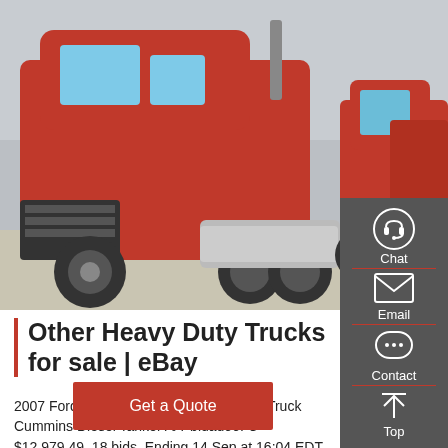[Figure (photo): Multiple red heavy duty trucks (Sinotruck HOWO T7H 540 series) parked in a yard, prominent red cab in foreground]
Other Heavy Duty Trucks for sale | eBay
2007 Ford F750 2,000 Gallon S/A Water Truck Cummins Diesel Tanker A/T bidadoo. C $12,979.49. 18 bids. Ending 14 Sep at 16:04 EDT. 4d 22h.
Get a Quote